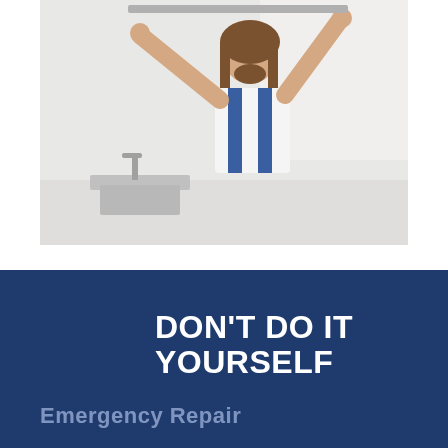[Figure (photo): A male worker with long hair in a white t-shirt and blue overalls reaching upward with both arms to work on something overhead, with a kitchen sink visible in the background]
[Figure (infographic): Dark navy blue banner with a dark square icon containing a white hard hat / construction worker symbol on the left, bold white text reading DON'T DO IT YOURSELF, and partially visible text Emergency Repair in a lighter blue color below]
DON'T DO IT YOURSELF
Emergency Repair